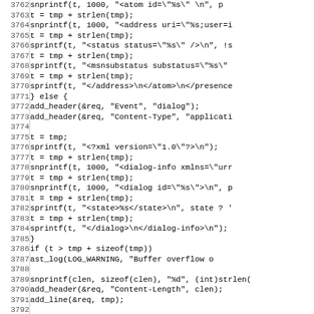[Figure (other): Source code listing in C, lines 3762-3794, showing code for generating XML presence/dialog notifications with sprintf/snprintf calls, header additions, and a return statement.]